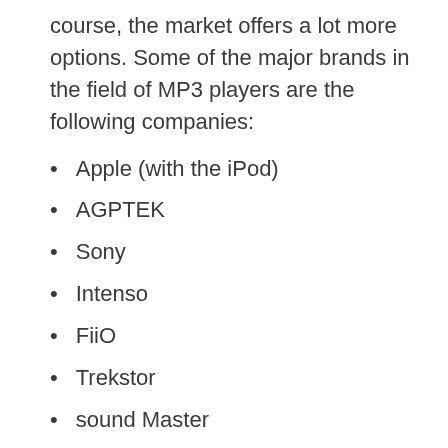course, the market offers a lot more options. Some of the major brands in the field of MP3 players are the following companies:
Apple (with the iPod)
AGPTEK
Sony
Intenso
FiiO
Trekstor
sound Master